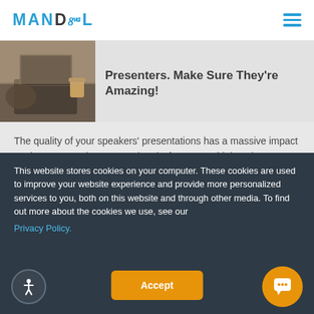MANDEL
[Figure (photo): A person working at a desk with a laptop, viewed from above, soft brown tones.]
Presenters. Make Sure They're Amazing!
The quality of your speakers' presentations has a massive impact on the return on investment (ROI) of your next high stakes event—particularly if it's virtual. Make sure your speakers are set up to wow!
This website stores cookies on your computer. These cookies are used to improve your website experience and provide more personalized services to you, both on this website and through other media. To find out more about the cookies we use, see our Privacy Policy.